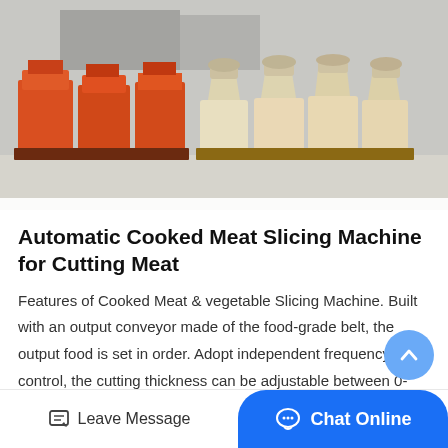[Figure (photo): Outdoor factory lot showing rows of industrial machines — orange/red crushers on the left and cream/beige cone crushers on the right, arranged on heavy-duty mobile frames.]
Automatic Cooked Meat Slicing Machine for Cutting Meat
Features of Cooked Meat & vegetable Slicing Machine. Built with an output conveyor made of the food-grade belt, the output food is set in order. Adopt independent frequency control, the cutting thickness can be adjustable between 0-20mm. Adopt imported...